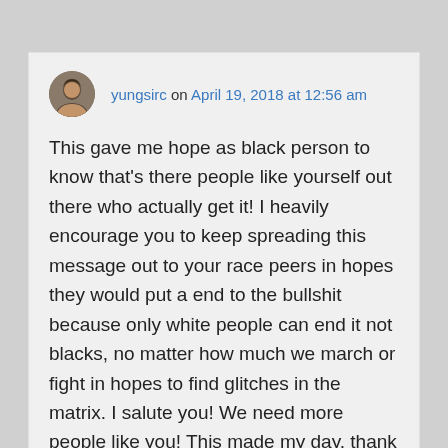yungsirc on April 19, 2018 at 12:56 am
This gave me hope as black person to know that's there people like yourself out there who actually get it! I heavily encourage you to keep spreading this message out to your race peers in hopes they would put a end to the bullshit because only white people can end it not blacks, no matter how much we march or fight in hopes to find glitches in the matrix. I salute you! We need more people like you! This made my day, thank you! It takes effort for white person to be this aware and